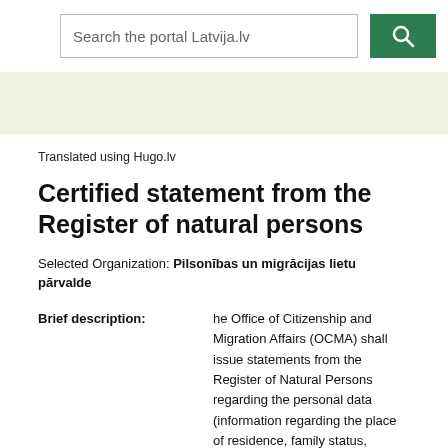Search the portal Latvija.lv
Translated using Hugo.lv
Certified statement from the Register of natural persons
Selected Organization: Pilsonības un migrācijas lietu pārvalde
Brief description: he Office of Citizenship and Migration Affairs (OCMA) shall issue statements from the Register of Natural Persons regarding the personal data (information regarding the place of residence, family status, passport data and other